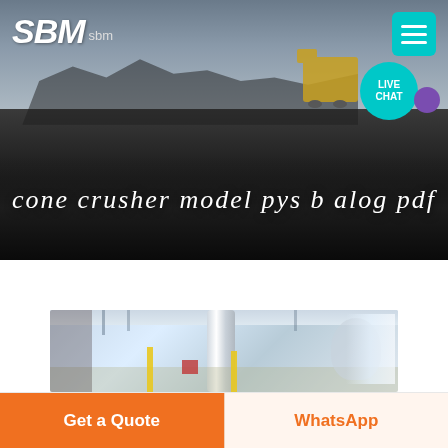[Figure (photo): Hero banner showing industrial mining/crushing equipment site with dark gravel and machinery silhouettes in background. SBM logo top-left, hamburger menu button top-right, live chat bubble below menu.]
cone crusher model pys b alog pdf
[Figure (photo): Industrial interior photo showing white pipe ductwork, yellow safety posts, red equipment box, and large white machinery in a factory setting.]
Get a Quote
WhatsApp